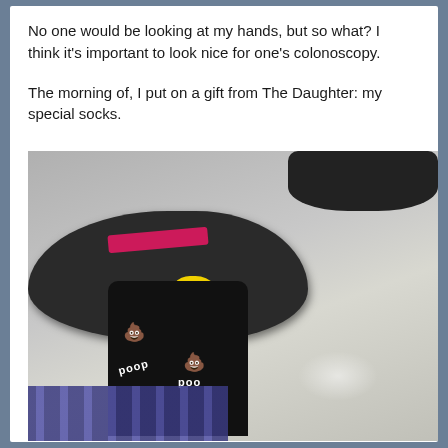No one would be looking at my hands, but so what? I think it's important to look nice for one's colonoscopy.
The morning of, I put on a gift from The Daughter: my special socks.
[Figure (photo): A close-up photo of a foot wearing black socks printed with poop emoji characters and the word 'poop', with yellow at the toe, wearing a dark gray/black slide sandal with a pink/red strap. The background shows a light-colored floor. Another sandal is visible in the upper right corner. Plaid pajama pants are visible at the bottom left.]